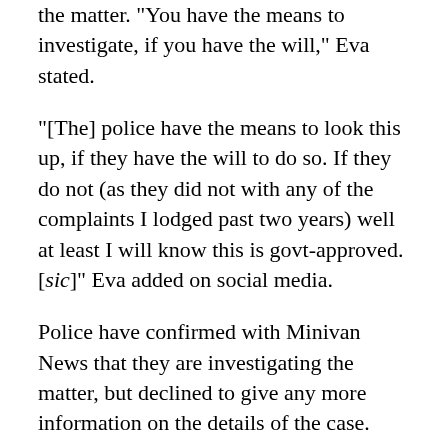the matter.  'You have the means to investigate, if you have the will,' Eva stated.
"[The] police have the means to look this up, if they have the will to do so. If they do not (as they did not with any of the complaints I lodged past two years) well at least I will know this is govt-approved. [sic]" Eva added on social media.
Police have confirmed with Minivan News that they are investigating the matter, but declined to give any more information on the details of the case.
Dr Afrasheem Ali's murder in October 2012 was the most high profile attack on a member of parliament in the country's history.
In the second death threat sent to MPs yesterday, the perpetrators referred to the attack on the former House of representatives MP and claimed that the